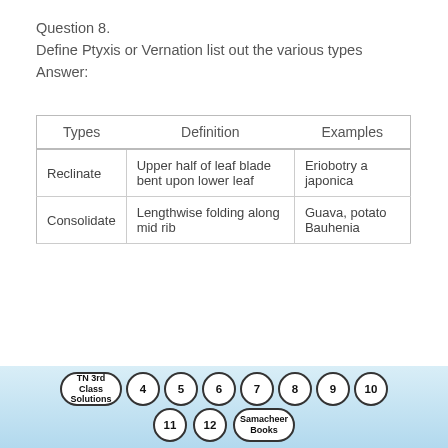Question 8.
Define Ptyxis or Vernation list out the various types
Answer:
| Types | Definition | Examples |
| --- | --- | --- |
| Reclinate | Upper half of leaf blade bent upon lower leaf | Eriobotry a japonica |
| Consolidate | Lengthwise folding along mid rib | Guava, potato Bauhenia |
TN 3rd Class Solutions  4  5  6  7  8  9  10  11  12  Samacheer Books